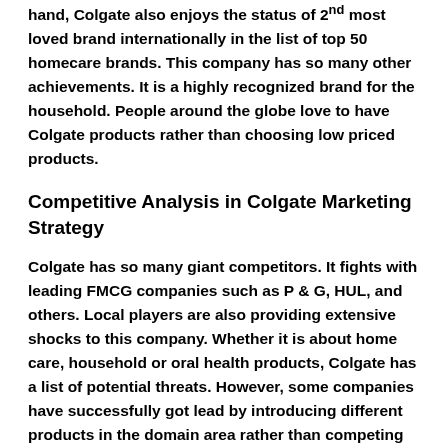hand, Colgate also enjoys the status of 2nd most loved brand internationally in the list of top 50 homecare brands. This company has so many other achievements. It is a highly recognized brand for the household. People around the globe love to have Colgate products rather than choosing low priced products.
Competitive Analysis in Colgate Marketing Strategy
Colgate has so many giant competitors. It fights with leading FMCG companies such as P & G, HUL, and others. Local players are also providing extensive shocks to this company. Whether it is about home care, household or oral health products, Colgate has a list of potential threats. However, some companies have successfully got lead by introducing different products in the domain area rather than competing for the d...